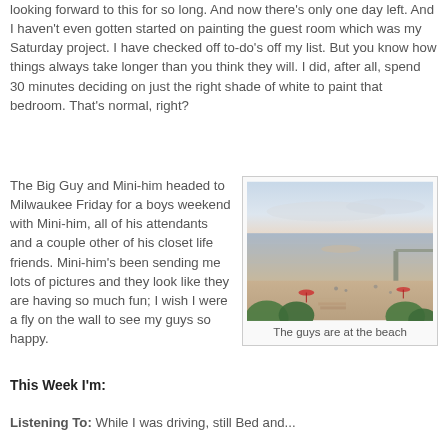looking forward to this for so long. And now there's only one day left. And I haven't even gotten started on painting the guest room which was my Saturday project. I have checked off to-do's off my list. But you know how things always take longer than you think they will. I did, after all, spend 30 minutes deciding on just the right shade of white to paint that bedroom. That's normal, right?
The Big Guy and Mini-him headed to Milwaukee Friday for a boys weekend with Mini-him, all of his attendants and a couple other of his closet life friends. Mini-him's been sending me lots of pictures and they look like they are having so much fun; I wish I were a fly on the wall to see my guys so happy.
[Figure (photo): Beach scene with calm water, sandy shore, a pier extending into the water on the right, some umbrellas and people on the beach, green trees and bushes in the foreground, soft sky at dusk or dawn.]
The guys are at the beach
This Week I'm:
Listening To: While I was driving, still Bed and...